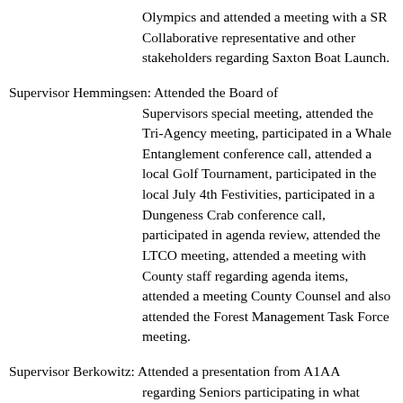Olympics and attended a meeting with a SR Collaborative representative and other stakeholders regarding Saxton Boat Launch.
Supervisor Hemmingsen: Attended the Board of Supervisors special meeting, attended the Tri-Agency meeting, participated in a Whale Entanglement conference call, attended a local Golf Tournament, participated in the local July 4th Festivities, participated in a Dungeness Crab conference call, participated in agenda review, attended the LTCO meeting, attended a meeting with County staff regarding agenda items, attended a meeting County Counsel and also attended the Forest Management Task Force meeting.
Supervisor Berkowitz: Attended a presentation from A1AA regarding Seniors participating in what A1AA has to offer, attended the Board of Supervisors special meeting, attended a meeting with the Yurok Tribe Chair and Councilman Ray regarding items of mutual interest and dealt with numerous constituents and business owners regarding COVID-19 and its effects.